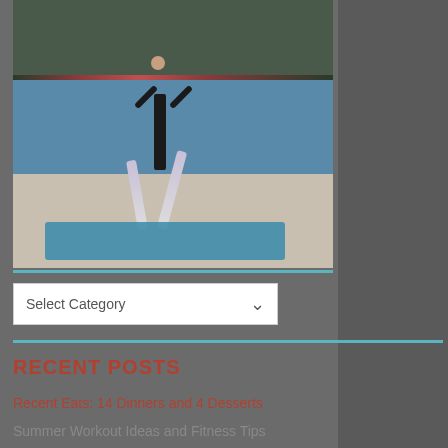[Figure (photo): A person doing a yoga warrior pose on a blue yoga mat next to a swimming pool, with flowers and greenery in the background. The person wears a black sports top and patterned leggings.]
Select Category
RECENT POSTS
Recent Eats: 14 Dinners and 4 Desserts
Summer Workout Ideas and Fitness Tips